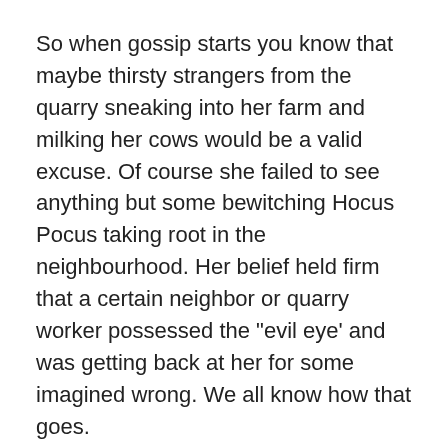So when gossip starts you know that maybe thirsty strangers from the quarry sneaking into her farm and milking her cows would be a valid excuse. Of course she failed to see anything but some bewitching Hocus Pocus taking root in the neighbourhood. Her belief held firm that a certain neighbor or quarry worker possessed the "evil eye' and was getting back at her for some imagined wrong. We all know how that goes.
Of course my interest wheel piqued to HOT and I began to wonder where the former Bishop's Quarry was. As I searched for information I came across Bruce Deachman's article in the Ottawa Citizen. Q is for Quarry: Forgotten, overgrown quarry provided the building blocks of Ottawa
Since I could find nothing about Bishop's Quarry I somehow knew after reading his article that this forgotten